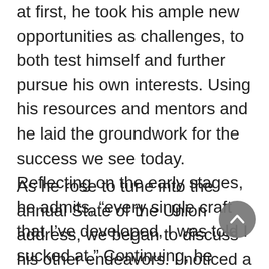at first, he took his ample new opportunities as challenges, to both test himself and further pursue his own interests. Using his resources and mentors and he laid the groundwork for the success we see today. Reflecting on the early stages, he admits, “every single craft that I’ve developed, I was told I sucked at.” Continuing, he notes, “Maybe I was terrible, but I didn’t stop.”
As he rose to tune into the annual State of the Union address, we began to discuss his other endeavors. I noticed a large stack of comic books on the television stand. Catching my interested gaze, Zel responds, detailing his latest venture, a comic series entitled The Adventures of DJ Zel...